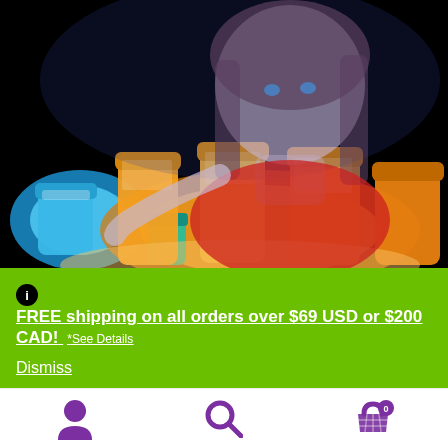[Figure (photo): Child in red clothing reaching toward glowing orange prescription pill bottles and blue containers on a dark background, illuminated from below.]
FREE shipping on all orders over $69 USD or $200 CAD! *See Details
Dismiss
[Figure (infographic): Bottom navigation bar with three purple icons: user/account icon, search magnifying glass icon, and shopping basket icon with a badge showing 0.]